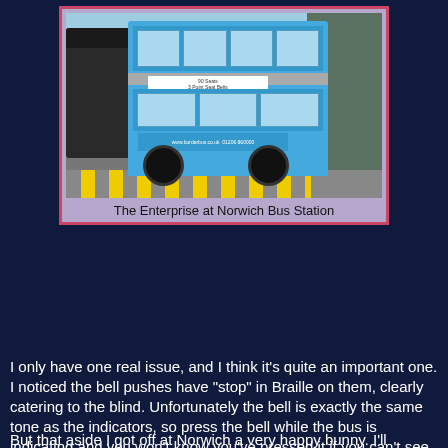[Figure (photo): A blue double-decker bus at Norwich Bus Station, viewed from the rear. The bus is parked on a yellow-striped surface. Other vehicles and a building are visible in the background.]
The Enterprise at Norwich Bus Station
I only have one real issue, and I think it's quite an important one. I noticed the bell pushes have "stop" in Braille on them, clearly catering to the blind. Unfortunately the bell is exactly the same tone as the indicators, so press the bell while the bus is indicating and you won't know you've pressed it if you can't see the "bus stopping" signs. I'm quite surprised this isn't covered in DDA regs and is something that needs to be addressed. As a Borderbus driver said to me when a similar issue with the Excellence was identified - "I'm having to take my eyes off the road to see if anyone has pressed the bell, as I can only tell by the light on the dashboard". It's such an easy remedy and one that needs to be done.
But that aside I got off at Norwich a very happy bunny. I'll